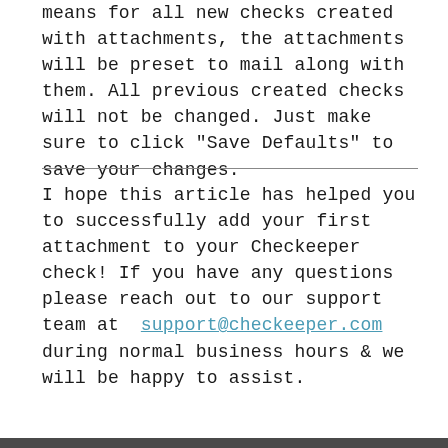means for all new checks created with attachments, the attachments will be preset to mail along with them. All previous created checks will not be changed. Just make sure to click "Save Defaults" to save your changes.
I hope this article has helped you to successfully add your first attachment to your Checkeeper check! If you have any questions please reach out to our support team at support@checkeeper.com during normal business hours & we will be happy to assist.